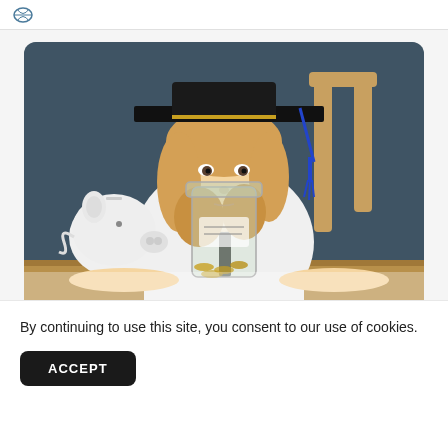[Logo icon]
[Figure (photo): A young child wearing a black graduation cap with blue tassel and a red polka-dot bow tie, sitting at a wooden table with a white piggy bank on the left and a glass jar filled with coins in the center, against a dark blue-gray chalkboard background.]
By continuing to use this site, you consent to our use of cookies.
ACCEPT